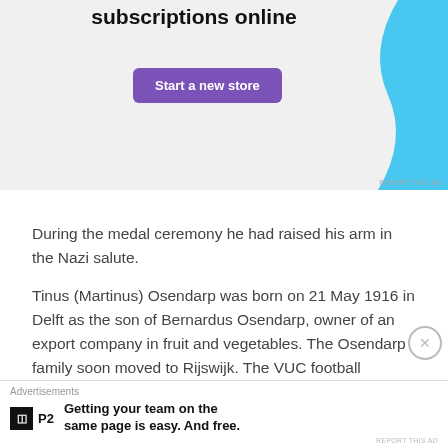[Figure (screenshot): Advertisement banner showing 'subscriptions online' text, a 'Start a new store' purple button, and a cyan/blue abstract shape on the right, with a 'REPORT THIS AD' link.]
During the medal ceremony he had raised his arm in the Nazi salute.
Tinus (Martinus) Osendarp was born on 21 May 1916 in Delft as the son of Bernardus Osendarp, owner of an export company in fruit and vegetables. The Osendarp family soon moved to Rijswijk. The VUC football association flourished there, which also had a small athletics department. However, Tinus wanted to become a famous footballer above all else. With his innate speed, he
[Figure (screenshot): Bottom advertisement overlay showing 'Advertisements' label and a P2 logo ad with text 'Getting your team on the same page is easy. And free.']